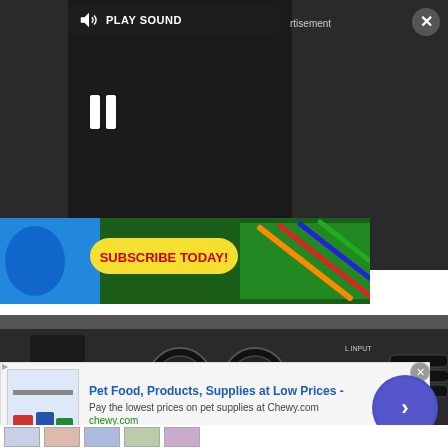[Figure (screenshot): Video player overlay with dark background, PLAY SOUND button, pause icon, advertisement label, and close X button in top right]
[Figure (screenshot): Subscribe Today banner advertisement featuring Sonic the Hedgehog characters and school supplies on green background]
[Figure (photo): Back panel of audio equipment showing XLR/audio connectors, cables plugged in, power switch, caution labels, and 230V AC marking]
[Figure (screenshot): Chewy.com advertisement banner: Pet Food, Products, Supplies at Low Prices - Pay the lowest prices on pet supplies at Chewy.com, with blue arrow button and product thumbnails]